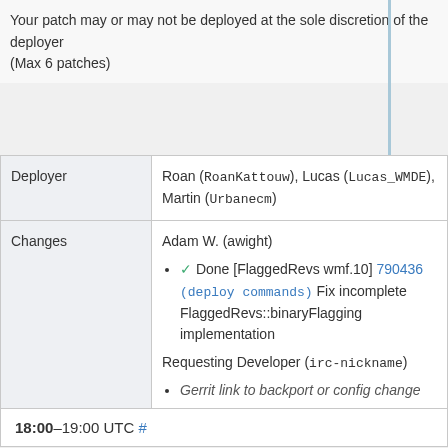Your patch may or may not be deployed at the sole discretion of the deployer
(Max 6 patches)
|  |  |
| --- | --- |
| Deployer | Roan (RoanKattouw), Lucas (Lucas_WMDE), Martin (Urbanecm) |
| Changes | Adam W. (awight)
• Done [FlaggedRevs wmf.10] 790436 (deploy commands) Fix incomplete FlaggedRevs::binaryFlagging implementation
Requesting Developer (irc-nickname)
• Gerrit link to backport or config change |
18:00–19:00 UTC #